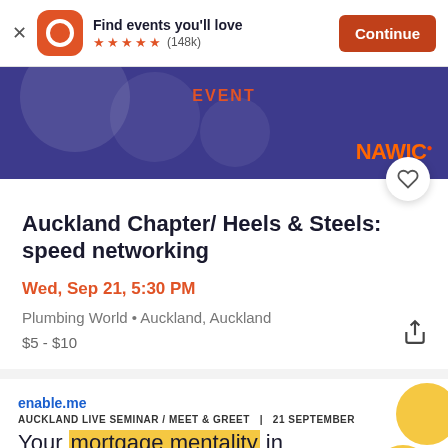Find events you'll love ★★★★★ (148k) Continue
[Figure (screenshot): Event banner image with dark purple/indigo background showing NAWIC logo in orange and EVENT label]
Auckland Chapter/ Heels & Steels: speed networking
Wed, Sep 21, 5:30 PM
Plumbing World • Auckland, Auckland
$5 - $10
[Figure (screenshot): Advertisement for enable.me Auckland live seminar / meet & greet on 21 September about mortgage mentality]
enable.me
AUCKLAND LIVE SEMINAR / MEET & GREET  |  21 SEPTEMBER
Your mortgage mentality in